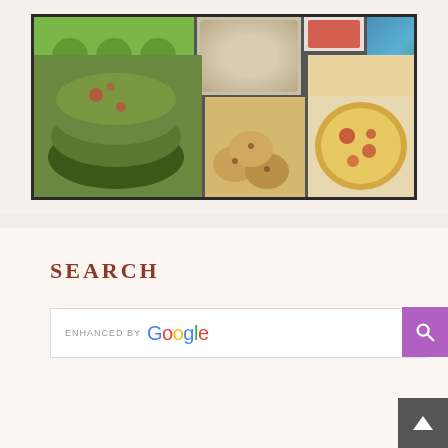[Figure (photo): Food collage showing green flatbreads/pancakes, tomatoes, chips, flatbread tortillas, cookies, and pizza arranged in a grid with dark border]
SEARCH
[Figure (screenshot): Google search bar with 'ENHANCED BY Google' text and purple search button]
[Figure (other): Back to top button (dark gray with upward arrow)]